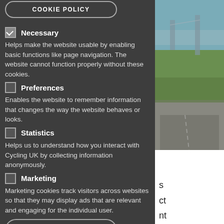COOKIE POLICY
Necessary
Helps make the website usable by enabling basic functions like page navigation. The website cannot function properly without these cookies.
Preferences
Enables the website to remember information that changes the way the website behaves or looks.
Statistics
Helps us to understand how you interact with Cycling UK by collecting information anonymously.
Marketing
Marketing cookies track visitors across websites so that they may display ads that are relevant and engaging for the individual user.
SAVE PREFERENCES
ACCEPT ALL COOKIES
[Figure (photo): Photo of a cycling path with green grass and a road, partially visible on the right side of the page]
s ct nt s